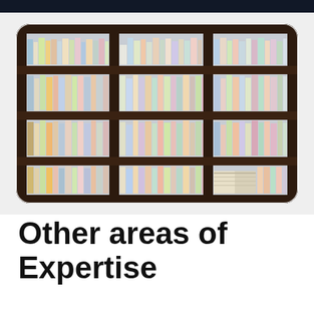[Figure (photo): A photograph of a large wooden bookshelf filled with many colorful books arranged on multiple shelves, divided into sections by vertical dividers.]
Other areas of Expertise